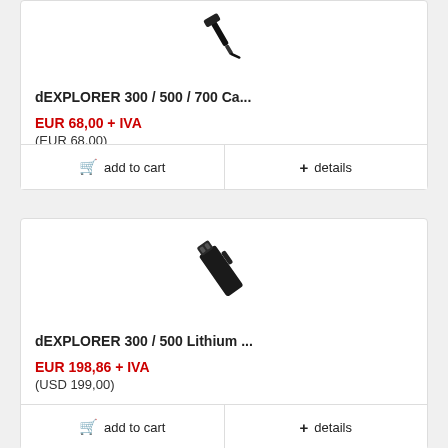[Figure (photo): Product image of dEXPLORER 300/500/700 Ca... accessory, small black cable/connector piece shown at angle]
dEXPLORER 300 / 500 / 700 Ca...
EUR 68,00 + IVA
(EUR 68,00)
add to cart
+ details
[Figure (photo): Product image of dEXPLORER 300/500 Lithium battery module, black rectangular device shown at angle]
dEXPLORER 300 / 500 Lithium ...
EUR 198,86 + IVA
(USD 199,00)
add to cart
+ details